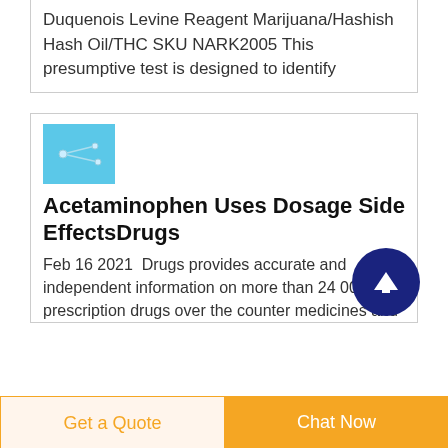Duquenois Levine Reagent Marijuana/Hashish Hash Oil/THC SKU NARK2005 This presumptive test is designed to identify
[Figure (photo): Small blue thumbnail image for Acetaminophen article]
Acetaminophen Uses Dosage Side EffectsDrugs
Feb 16 2021  Drugs provides accurate and independent information on more than 24 000 prescription drugs over the counter medicines and
Get a Quote
Chat Now